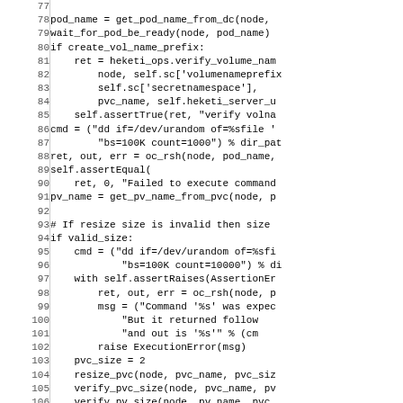Source code listing lines 77-106 showing Python code for pod/PVC operations including resize logic